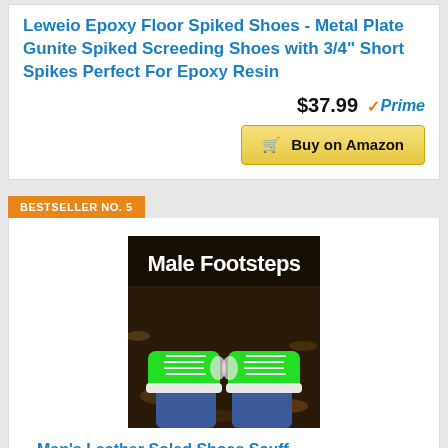Leweio Epoxy Floor Spiked Shoes - Metal Plate Gunite Spiked Screeding Shoes with 3/4" Short Spikes Perfect For Epoxy Resin
$37.99 ✓Prime
Buy on Amazon
BESTSELLER NO. 5
[Figure (photo): Photo of bright green sneakers/canvas shoes viewed from above, with text 'Male Footsteps' overlaid at the top]
Men's Leather Soled Shoes Scuff